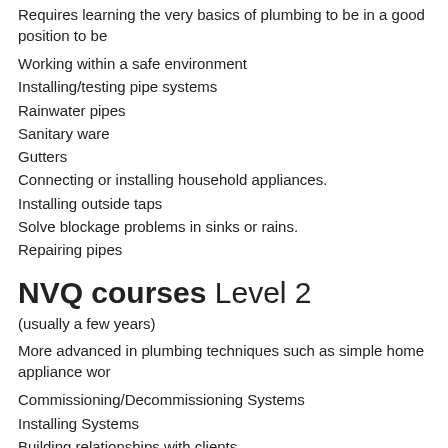Requires learning the very basics of plumbing to be in a good position to be
Working within a safe environment
Installing/testing pipe systems
Rainwater pipes
Sanitary ware
Gutters
Connecting or installing household appliances.
Installing outside taps
Solve blockage problems in sinks or rains.
Repairing pipes
NVQ courses Level 2
(usually a few years)
More advanced in plumbing techniques such as simple home appliance wor
Commissioning/Decommissioning Systems
Installing Systems
Building relationships with clients
Maintenance of Systems
System Efficiency
Sheet Weathering